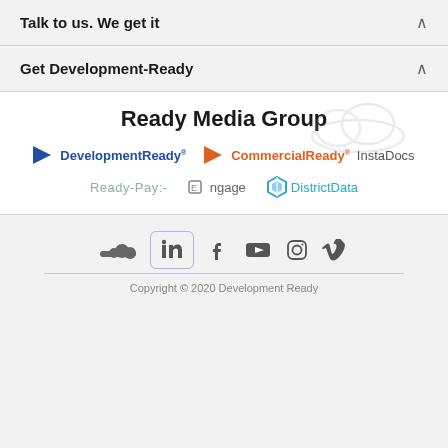Talk to us. We get it
Get Development-Ready
Ready Media Group
[Figure (logo): Ready Media Group logos: DevelopmentReady (blue arrow icon), CommercialReady (orange arrow icon), InstaDocs, Ready-Pay, Engage, DistrictData]
[Figure (infographic): Social media icons row: SoundCloud, LinkedIn (in a rounded box), Facebook, YouTube, Instagram, Vimeo]
Copyright © 2020 Development Ready